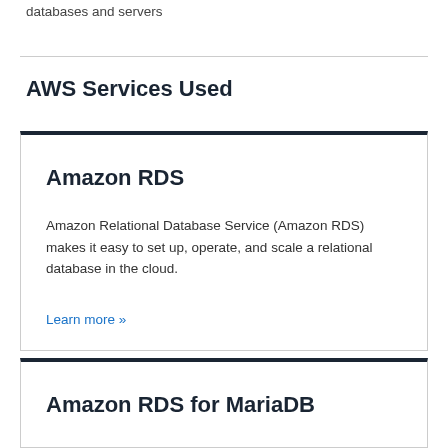databases and servers
AWS Services Used
Amazon RDS
Amazon Relational Database Service (Amazon RDS) makes it easy to set up, operate, and scale a relational database in the cloud.
Learn more »
Amazon RDS for MariaDB